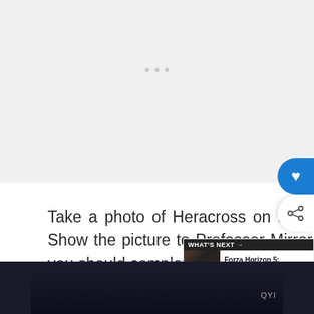[Figure (screenshot): Light gray image area (video/photo placeholder) with three small gray dots in the center, representing a loading or empty media area.]
Take a photo of Heracross on the ground looking up at Pinsir. Show the picture to Professor Mirror at the end of the level and you should complete this request!
[Figure (screenshot): Floating UI overlay with a blue heart/favorite button and a share button on the right side, plus a 'WHAT'S NEXT' panel showing Forza Horizon 5: Premium...]
[Figure (screenshot): Dark bottom navigation strip with a video thumbnail area and 'QYI' text badge.]